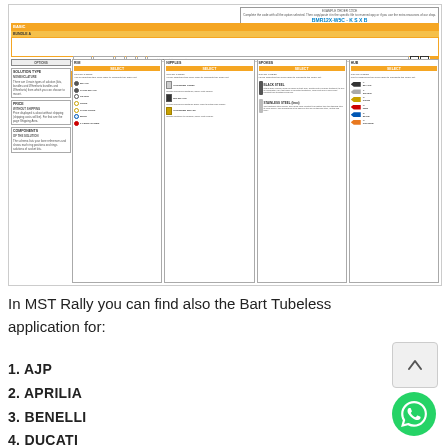[Figure (infographic): Product configurator schematic for a wheel system (MST Rally / Bart Tubeless), showing BASIC > BUNDLE A > WHEELSET C at 1,754.00€ with order code BMR12X-W5C, and component options for RIM, NIPPLES, SPOKES, HUB including color codes (BLACK, SATIN BLACK, SILVER, GOLD, SATIN GOLD, BLUE, FERRARI RED for rim; CHROMED-STEEL, DIP BLACK, CHROMED-BRASS for nipples; BLACK STEEL, STAINLESS STEEL for spokes; BLACK, SILVER, GOLD, RED, BLUE, ORANGE for hub). Left side boxes: SOLUTION TYPE NOMENCLATURE, PRICE WITHOUT SHIPPING, COMPONENTS OF THE SOLUTION.]
In MST Rally you can find also the Bart Tubeless application for:
1. AJP
2. APRILIA
3. BENELLI
4. DUCATI
5. FANTIC
6. HARLEY DAVIDSON
7. INDIAN